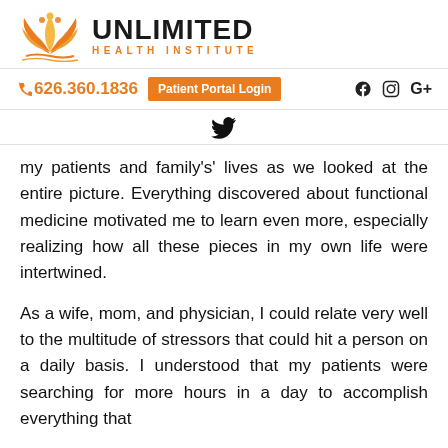[Figure (logo): Unlimited Health Institute logo with orange lotus flower and bold black/orange text]
626.360.1836  Patient Portal Login  Facebook  Instagram  Google+
[Figure (logo): Twitter bird icon]
my patients and family's' lives as we looked at the entire picture. Everything discovered about functional medicine motivated me to learn even more, especially realizing how all these pieces in my own life were intertwined.
As a wife, mom, and physician, I could relate very well to the multitude of stressors that could hit a person on a daily basis. I understood that my patients were searching for more hours in a day to accomplish everything that